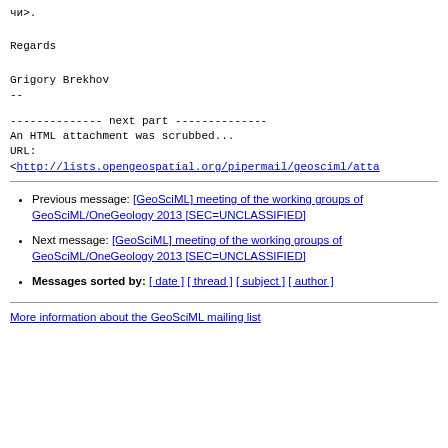чи>.
Regards
Grigory Brekhov
--
-------------- next part --------------
An HTML attachment was scrubbed...
URL:
<http://lists.opengeospatial.org/pipermail/geosciml/atta
Previous message: [GeoSciML] meeting of the working groups of GeoSciML/OneGeology 2013 [SEC=UNCLASSIFIED]
Next message: [GeoSciML] meeting of the working groups of GeoSciML/OneGeology 2013 [SEC=UNCLASSIFIED]
Messages sorted by: [ date ] [ thread ] [ subject ] [ author ]
More information about the GeoSciML mailing list